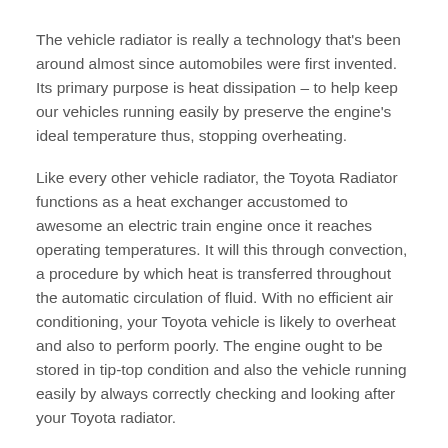The vehicle radiator is really a technology that's been around almost since automobiles were first invented. Its primary purpose is heat dissipation – to help keep our vehicles running easily by preserve the engine's ideal temperature thus, stopping overheating.
Like every other vehicle radiator, the Toyota Radiator functions as a heat exchanger accustomed to awesome an electric train engine once it reaches operating temperatures. It will this through convection, a procedure by which heat is transferred throughout the automatic circulation of fluid. With no efficient air conditioning, your Toyota vehicle is likely to overheat and also to perform poorly. The engine ought to be stored in tip-top condition and also the vehicle running easily by always correctly checking and looking after your Toyota radiator.